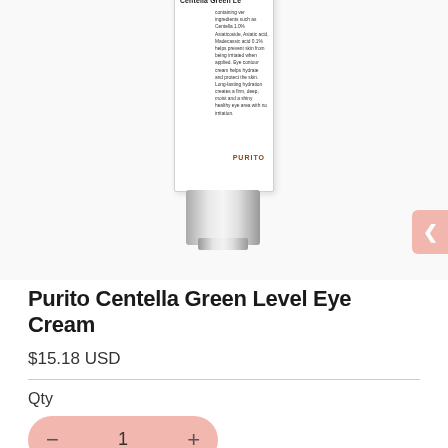[Figure (photo): Product photo of Purito Centella Green Level Eye Cream tube, white cylindrical tube with silver metallic cap, text on tube reads 'Centella Green Level' and 'PURITO']
Purito Centella Green Level Eye Cream
$15.18 USD
Qty
— 1 +